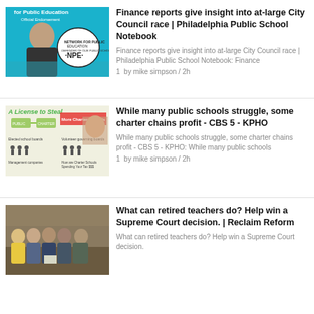[Figure (photo): NPE official endorsement image with woman smiling and NPE logo on teal background with text 'for Public Education Official Endorsement']
Finance reports give insight into at-large City Council race | Philadelphia Public School Notebook
Finance reports give insight into at-large City Council race | Philadelphia Public School Notebook: Finance 1  by mike simpson / 2h
[Figure (infographic): Infographic titled 'A License to Steal' showing charter school funding flow diagram with 'More Charter Schools' text and figures]
While many public schools struggle, some charter chains profit - CBS 5 - KPHO
While many public schools struggle, some charter chains profit - CBS 5 - KPHO: While many public schools 1  by mike simpson / 2h
[Figure (photo): Group photo of five older men standing together indoors, one holding a document]
What can retired teachers do? Help win a Supreme Court decision. | Reclaim Reform
What can retired teachers do? Help win a Supreme Court decision.